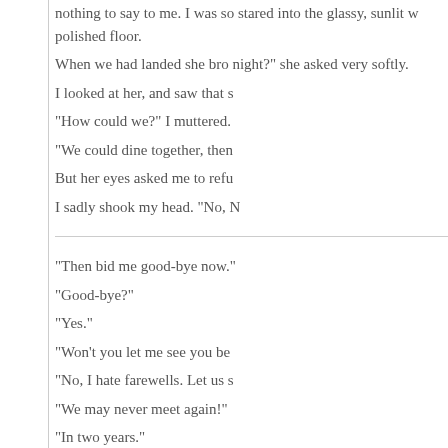nothing to say to me. I was so stared into the glassy, sunlit w polished floor.
When we had landed she bro night?" she asked very softly.
I looked at her, and saw that s
"How could we?" I muttered.
"We could dine together, then
But her eyes asked me to refu
I sadly shook my head. “No, N
“Then bid me good-bye now.”
"Good-bye?"
"Yes."
"Won't you let me see you be
"No, I hate farewells. Let us s
"We may never meet again!"
"In two years."